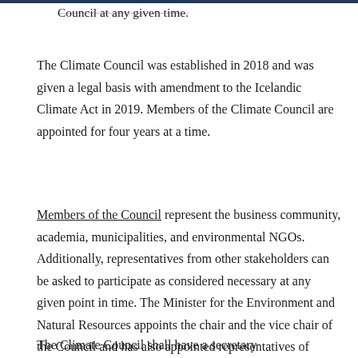Council at any given time.
The Climate Council was established in 2018 and was given a legal basis with amendment to the Icelandic Climate Act in 2019. Members of the Climate Council are appointed for four years at a time.
Members of the Council represent the business community, academia, municipalities, and environmental NGOs. Additionally, representatives from other stakeholders can be asked to participate as considered necessary at any given point in time. The Minister for the Environment and Natural Resources appoints the chair and the vice chair of the Council and has also appointed representatives of youth.
The Climate Council shall have a secretary...